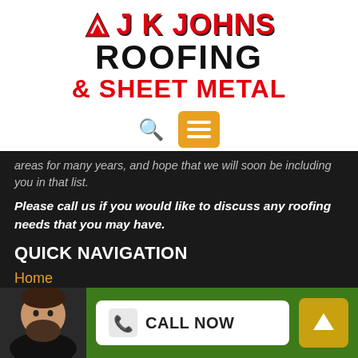[Figure (logo): JK Johns Roofing & Sheet Metal logo with red and black bold text and a triangular icon]
areas for many years, and hope that we will soon be including you in that list.
Please call us if you would like to discuss any roofing needs that you may have.
QUICK NAVIGATION
Home
[Figure (photo): Photo of a bearded man in a black shirt, shown in the green footer bar]
CALL NOW